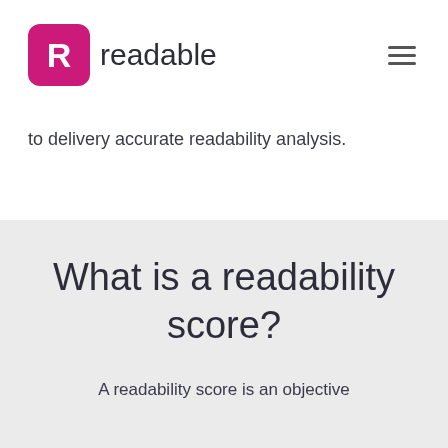readable
to delivery accurate readability analysis.
What is a readability score?
A readability score is an objective